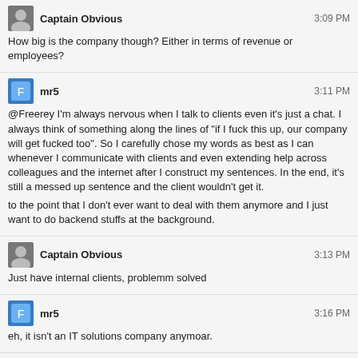Captain Obvious 3:09 PM
How big is the company though? Either in terms of revenue or employees?
mr5 3:11 PM
@Freerey I'm always nervous when I talk to clients even it's just a chat. I always think of something along the lines of "if I fuck this up, our company will get fucked too". So I carefully chose my words as best as I can whenever I communicate with clients and even extending help across colleagues and the internet after I construct my sentences. In the end, it's still a messed up sentence and the client wouldn't get it.
to the point that I don't ever want to deal with them anymore and I just want to do backend stuffs at the background.
Captain Obvious 3:13 PM
Just have internal clients, problemm solved
mr5 3:16 PM
eh, it isn't an IT solutions company anymoar.
Freerey 3:16 PM
Sep 24 at 12:43, by Freerey
I think the only time I nearly lost it was when somebody was having trouble navigating my website on their ipad and they kept asking me about "press home to unlock"
this will always be the worst client experience I've ever had
ok not really, but this one gave me a headache
little id they know, I was mouthing swear words from my end
mr5 3:17 PM